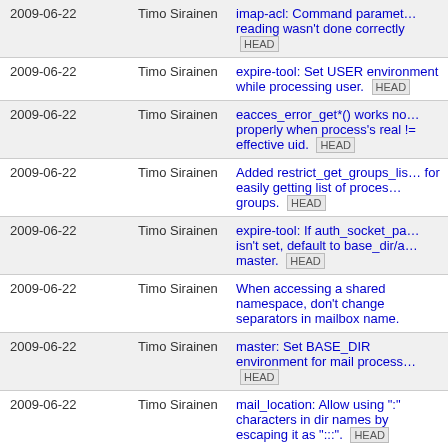| Date | Author | Message |
| --- | --- | --- |
| 2009-06-22 | Timo Sirainen | imap-acl: Command parameter reading wasn't done correctly HEAD |
| 2009-06-22 | Timo Sirainen | expire-tool: Set USER environment while processing user. HEAD |
| 2009-06-22 | Timo Sirainen | eacces_error_get*() works not properly when process's real != effective uid. HEAD |
| 2009-06-22 | Timo Sirainen | Added restrict_get_groups_list for easily getting list of process groups. HEAD |
| 2009-06-22 | Timo Sirainen | expire-tool: If auth_socket_path isn't set, default to base_dir/auth-master. HEAD |
| 2009-06-22 | Timo Sirainen | When accessing a shared namespace, don't change separators in mailbox name. |
| 2009-06-22 | Timo Sirainen | master: Set BASE_DIR environment for mail processes. HEAD |
| 2009-06-22 | Timo Sirainen | mail_location: Allow using ":" characters in dir names by escaping it as ":::". HEAD |
| 2009-06-17 | Timo Sirainen | imap-login: Using CAPABILITY command after STARTTLS shouldn't trigger CAPABILITY |